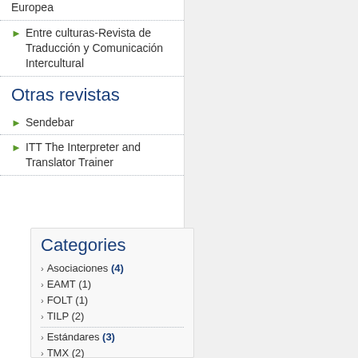Instituciones de la Unión Europea
Entre culturas-Revista de Traducción y Comunicación Intercultural
Otras revistas
Sendebar
ITT The Interpreter and Translator Trainer
Categories
Asociaciones (4)
EAMT (1)
FOLT (1)
TILP (2)
Estándares (3)
TMX (2)
XLIFF (1)
Eventos (15)
Conferencias (11)